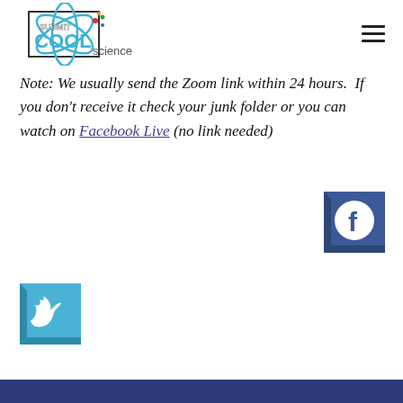[Figure (logo): Submit Cool Science logo with atom graphic and text]
[Figure (other): Hamburger menu icon (three horizontal lines)]
Note: We usually send the Zoom link within 24 hours.  If you don't receive it check your junk folder or you can watch on Facebook Live (no link needed)
[Figure (logo): Facebook social media icon - blue square with white F circle]
[Figure (logo): Twitter social media icon - blue square with white bird]